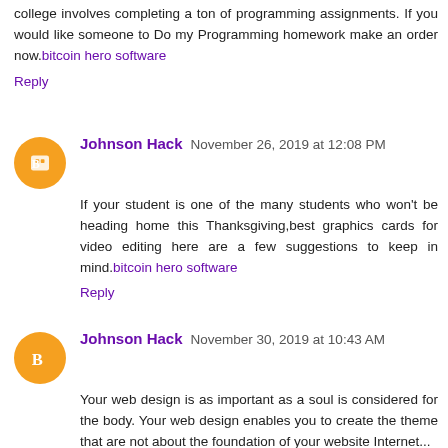college involves completing a ton of programming assignments. If you would like someone to Do my Programming homework make an order now.bitcoin hero software
Reply
Johnson Hack  November 26, 2019 at 12:08 PM
If your student is one of the many students who won't be heading home this Thanksgiving,best graphics cards for video editing here are a few suggestions to keep in mind.bitcoin hero software
Reply
Johnson Hack  November 30, 2019 at 10:43 AM
Your web design is as important as a soul is considered for the body. Your web design enables you to create the theme that are not about the foundation of your website Internet...